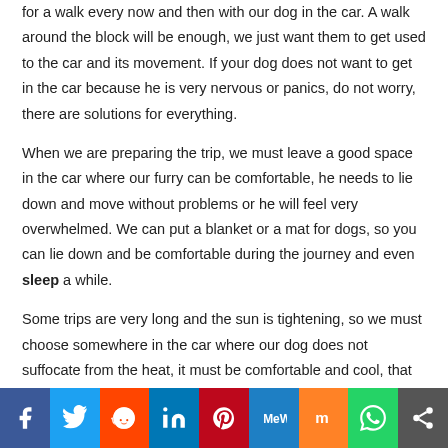for a walk every now and then with our dog in the car. A walk around the block will be enough, we just want them to get used to the car and its movement. If your dog does not want to get in the car because he is very nervous or panics, do not worry, there are solutions for everything.
When we are preparing the trip, we must leave a good space in the car where our furry can be comfortable, he needs to lie down and move without problems or he will feel very overwhelmed. We can put a blanket or a mat for dogs, so you can lie down and be comfortable during the journey and even sleep a while.
Some trips are very long and the sun is tightening, so we must choose somewhere in the car where our dog does not suffocate from the heat, it must be comfortable and cool, that is essential. Otherwise you could suffer heat stroke with dire consequences.
[Figure (infographic): Social media sharing bar with icons: Facebook, Twitter, Reddit, LinkedIn, Pinterest, MeWe, Mix, WhatsApp, Share]